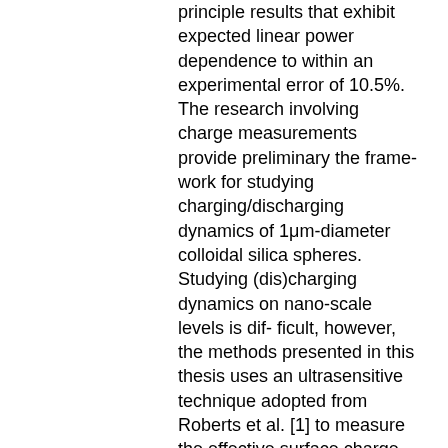principle results that exhibit expected linear power dependence to within an experimental error of 10.5%. The research involving charge measurements provide preliminary the frame- work for studying charging/discharging dynamics of 1μm-diameter colloidal silica spheres. Studying (dis)charging dynamics on nano-scale levels is dif- ficult, however, the methods presented in this thesis uses an ultrasensitive technique adopted from Roberts et al. [1] to measure the effective surface charge of particles dispersed in water. This is performed by conducting electrophoresis experiments designed to track the movement of an optically trapped particle in the presence of an applied (AC) electric- field. Experimen- tal results demonstrate the ability to measure